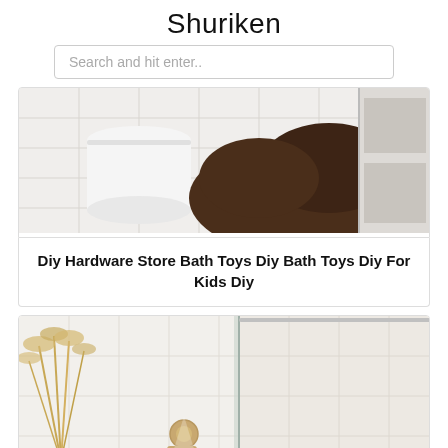Shuriken
Search and hit enter..
[Figure (photo): Close-up photo of a child with brown hair near a white cylindrical object in a white-tiled bathroom]
Diy Hardware Store Bath Toys Diy Bath Toys Diy For Kids Diy
[Figure (photo): Bright modern bathroom with white tiles, pampas grass in a vase, gold faucet fixtures, and a glass shower panel]